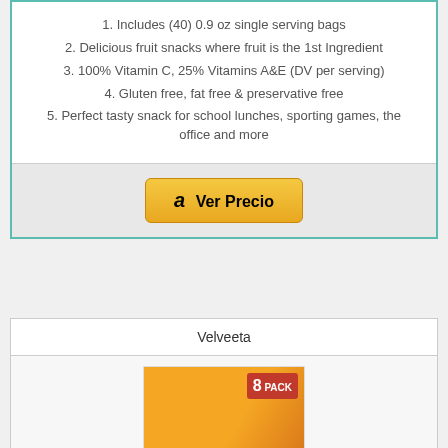1. Includes (40) 0.9 oz single serving bags
2. Delicious fruit snacks where fruit is the 1st Ingredient
3. 100% Vitamin C, 25% Vitamins A&E (DV per serving)
4. Gluten free, fat free & preservative free
5. Perfect tasty snack for school lunches, sporting games, the office and more
Ver Precio
Velveeta
[Figure (photo): Velveeta Cheeta product image showing 8 PACK]